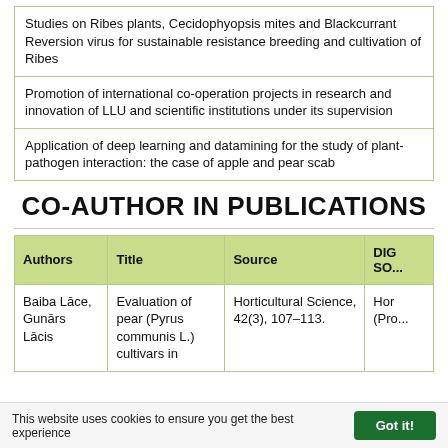| Studies on Ribes plants, Cecidophyopsis mites and Blackcurrant Reversion virus for sustainable resistance breeding and cultivation of Ribes |
| Promotion of international co-operation projects in research and innovation of LLU and scientific institutions under its supervision |
| Application of deep learning and datamining for the study of plant-pathogen interaction: the case of apple and pear scab |
CO-AUTHOR IN PUBLICATIONS
| Authors | Title | Source | DIG SO... |
| --- | --- | --- | --- |
| Baiba Lāce, Gunārs Lācis | Evaluation of pear (Pyrus communis L.) cultivars in ... | Horticultural Science, 42(3), 107–113. | Hor (Pro... |
This website uses cookies to ensure you get the best experience